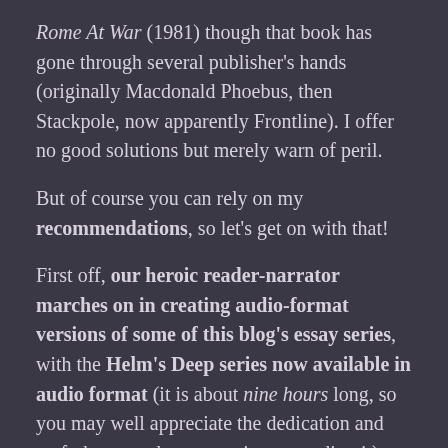Rome At War (1981) though that book has gone through several publisher's hands (originally Macdonald Phoebus, then Stackpole, now apparently Frontline). I offer no good solutions but merely warn of peril.
But of course you can rely on my recommendations, so let's get on with that!
First off, our heroic reader-narrator marches on in creating audio-format versions of some of this blog's essay series, with the Helm's Deep series now available in audio format (it is about nine hours long, so you may well appreciate the dedication and craft that must have gone into recording it). You can find the playlist with each entry here, check it out. Again, audio versions of the posts were an accessibility option I had